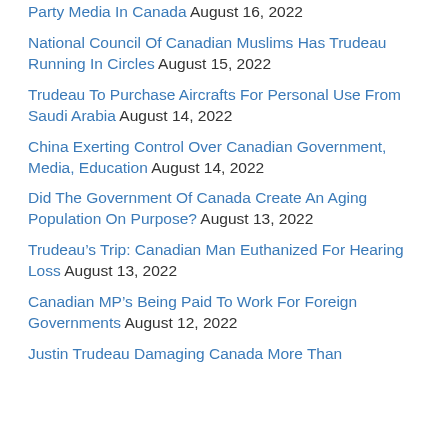Party Media In Canada August 16, 2022
National Council Of Canadian Muslims Has Trudeau Running In Circles August 15, 2022
Trudeau To Purchase Aircrafts For Personal Use From Saudi Arabia August 14, 2022
China Exerting Control Over Canadian Government, Media, Education August 14, 2022
Did The Government Of Canada Create An Aging Population On Purpose? August 13, 2022
Trudeau’s Trip: Canadian Man Euthanized For Hearing Loss August 13, 2022
Canadian MP’s Being Paid To Work For Foreign Governments August 12, 2022
Justin Trudeau Damaging Canada More Than...